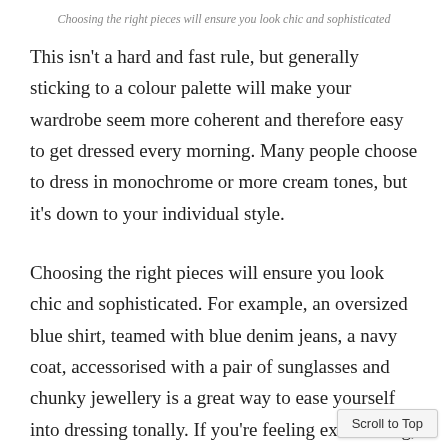Choosing the right pieces will ensure you look chic and sophisticated
This isn't a hard and fast rule, but generally sticking to a colour palette will make your wardrobe seem more coherent and therefore easy to get dressed every morning. Many people choose to dress in monochrome or more cream tones, but it's down to your individual style.
Choosing the right pieces will ensure you look chic and sophisticated. For example, an oversized blue shirt, teamed with blue denim jeans, a navy coat, accessorised with a pair of sunglasses and chunky jewellery is a great way to ease yourself into dressing tonally. If you're feeling extra daring, throw on a pair of Gucci Printstown's (fur lined of course), tie a dark cashmere sweater around your shoulders, sling on a d…ag